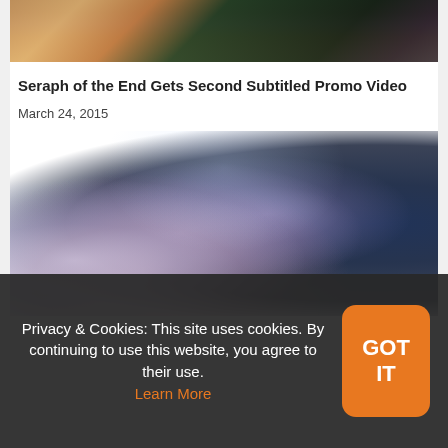[Figure (illustration): Top portion of an anime image showing characters from Seraph of the End, partially cropped at the top of the page]
Seraph of the End Gets Second Subtitled Promo Video
March 24, 2015
[Figure (illustration): Anime promotional image showing multiple anime characters including girls with long hair, a character in a witch hat, a pink-haired character, and a blue-haired character on the right side]
Privacy & Cookies: This site uses cookies. By continuing to use this website, you agree to their use. Learn More